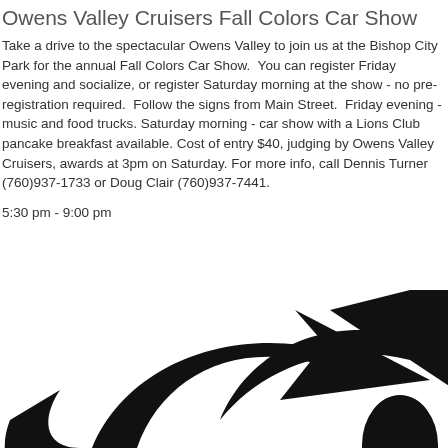Owens Valley Cruisers Fall Colors Car Show
Take a drive to the spectacular Owens Valley to join us at the Bishop City Park for the annual Fall Colors Car Show. You can register Friday evening and socialize, or register Saturday morning at the show - no pre-registration required. Follow the signs from Main Street. Friday evening - music and food trucks. Saturday morning - car show with a Lions Club pancake breakfast available. Cost of entry $40, judging by Owens Valley Cruisers, awards at 3pm on Saturday. For more info, call Dennis Turner (760)937-1733 or Doug Clair (760)937-7441.
5:30 pm - 9:00 pm
[Figure (illustration): A large black arrow/share icon pointing to the upper right, partially cropped at the bottom of the page]